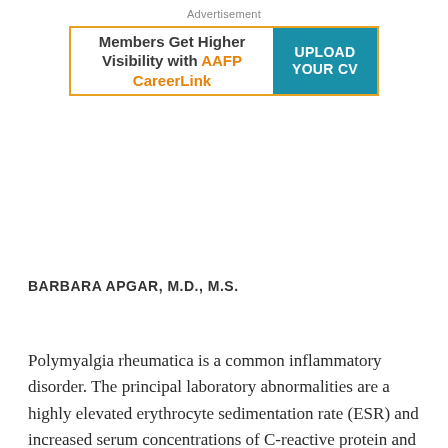Advertisement
[Figure (other): Advertisement banner: 'Members Get Higher Visibility with AAFP CareerLink — UPLOAD YOUR CV']
BARBARA APGAR, M.D., M.S.
Polymyalgia rheumatica is a common inflammatory disorder. The principal laboratory abnormalities are a highly elevated erythrocyte sedimentation rate (ESR) and increased serum concentrations of C-reactive protein and